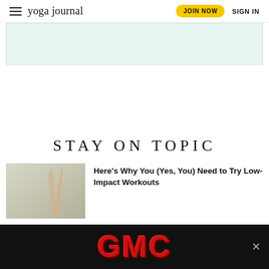yoga journal | JOIN NOW | SIGN IN
[Figure (other): Top advertisement banner area with light teal background]
[Figure (other): White space content area]
STAY ON TOPIC
[Figure (photo): Person raising arm against a light gray background]
Here’s Why You (Yes, You) Need to Try Low-Impact Workouts
[Figure (other): GMC advertisement banner on black background with red GMC logo text and close button]